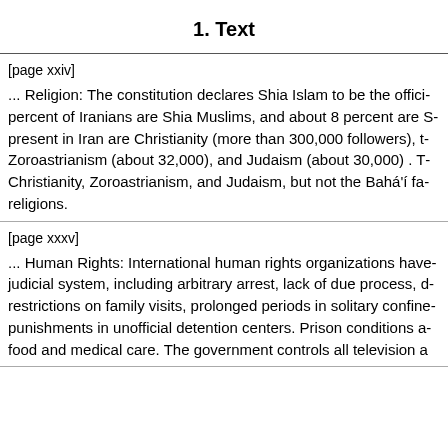1. Text
[page xxiv]
... Religion: The constitution declares Shia Islam to be the official religion. About 89 percent of Iranians are Shia Muslims, and about 8 percent are Sunni Muslims. Other religions present in Iran are Christianity (more than 300,000 followers), the Bahá'í faith (about 300,000), Zoroastrianism (about 32,000), and Judaism (about 30,000) . The constitution recognizes Christianity, Zoroastrianism, and Judaism, but not the Bahá'í faith or other minority religions.
[page xxxv]
... Human Rights: International human rights organizations have documented flaws in the judicial system, including arbitrary arrest, lack of due process, denial of attorney access, restrictions on family visits, prolonged periods in solitary confinement, and abuse and punishments in unofficial detention centers. Prison conditions are poor with inadequate food and medical care. The government controls all television and radio.